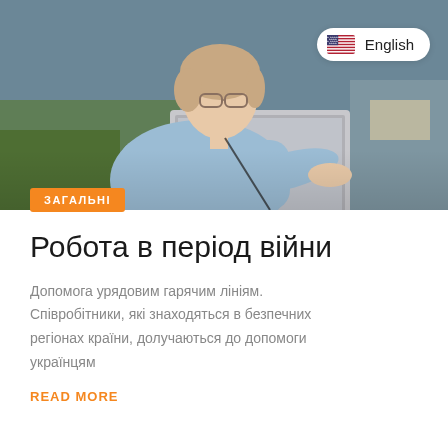[Figure (photo): Woman wearing glasses sitting on a couch using a laptop computer, wearing a light blue shirt]
English
ЗАГАЛЬНІ
Робота в період війни
Допомога урядовим гарячим лініям. Співробітники, які знаходяться в безпечних регіонах країни, долучаються до допомоги українцям
READ MORE